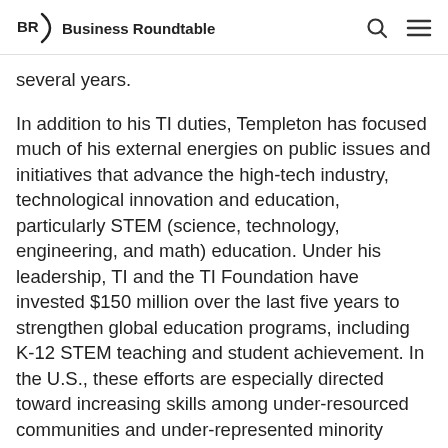BR Business Roundtable
several years.
In addition to his TI duties, Templeton has focused much of his external energies on public issues and initiatives that advance the high-tech industry, technological innovation and education, particularly STEM (science, technology, engineering, and math) education. Under his leadership, TI and the TI Foundation have invested $150 million over the last five years to strengthen global education programs, including K-12 STEM teaching and student achievement. In the U.S., these efforts are especially directed toward increasing skills among under-resourced communities and under-represented minority students and girls. The industry has taken note of Templeton's commitment and passion in this area. In 2012, the Semiconductor Industry Association awarded him its highest honor, citing his service as a "vigorous